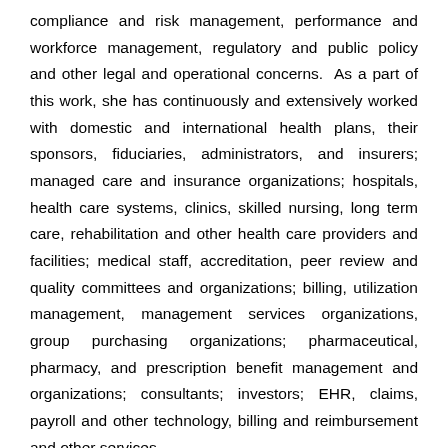compliance and risk management, performance and workforce management, regulatory and public policy and other legal and operational concerns. As a part of this work, she has continuously and extensively worked with domestic and international health plans, their sponsors, fiduciaries, administrators, and insurers; managed care and insurance organizations; hospitals, health care systems, clinics, skilled nursing, long term care, rehabilitation and other health care providers and facilities; medical staff, accreditation, peer review and quality committees and organizations; billing, utilization management, management services organizations, group purchasing organizations; pharmaceutical, pharmacy, and prescription benefit management and organizations; consultants; investors; EHR, claims, payroll and other technology, billing and reimbursement and other services